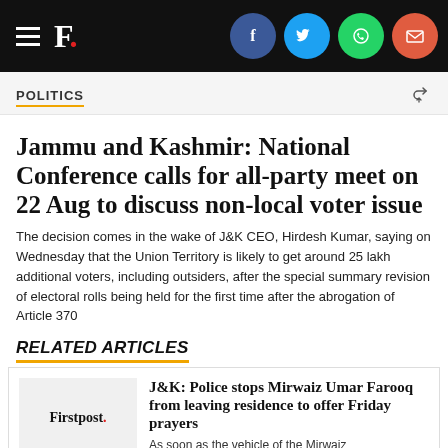F. [Firstpost logo with social icons: Facebook, Twitter, WhatsApp, Email]
POLITICS
Jammu and Kashmir: National Conference calls for all-party meet on 22 Aug to discuss non-local voter issue
The decision comes in the wake of J&K CEO, Hirdesh Kumar, saying on Wednesday that the Union Territory is likely to get around 25 lakh additional voters, including outsiders, after the special summary revision of electoral rolls being held for the first time after the abrogation of Article 370
RELATED ARTICLES
J&K: Police stops Mirwaiz Umar Farooq from leaving residence to offer Friday prayers
As soon as the vehicle of the Mirwaiz